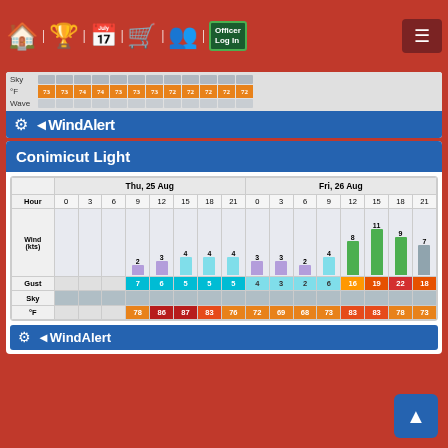Navigation bar with home, trophy, calendar, cart, user, Officer Log In, menu icons
[Figure (screenshot): Partial WindAlert weather widget showing Sky row, temperature row (°F: 73,73,74,74,73,73,73,72,72,72,72,72), Wave row, and WindAlert logo bar]
Conimicut Light
|  | Thu, 25 Aug (0,3,6,9,12,15,18,21) | Fri, 26 Aug (0,3,6,9,12,15,18,21) |
| --- | --- | --- |
| Hour | 0 | 3 | 6 | 9 | 12 | 15 | 18 | 21 | 0 | 3 | 6 | 9 | 12 | 15 | 18 | 21 |
| Wind (kts) |  |  |  | 2 | 3 | 4 | 4 | 4 | 3 | 3 | 2 | 4 | 8 | 11 | 9 | 7 |
| Gust |  |  |  | 7 | 6 | 5 | 5 | 5 | 4 | 3 | 2 | 6 | 16 | 19 | 22 | 18 |
| Sky |  |  |  |  |  |  |  |  |  |  |  |  |  |  |  |  |
| °F |  |  |  | 78 | 86 | 87 | 83 | 76 | 72 | 69 | 68 | 73 | 83 | 83 | 78 | 73 |
[Figure (screenshot): WindAlert logo footer bar (partial)]